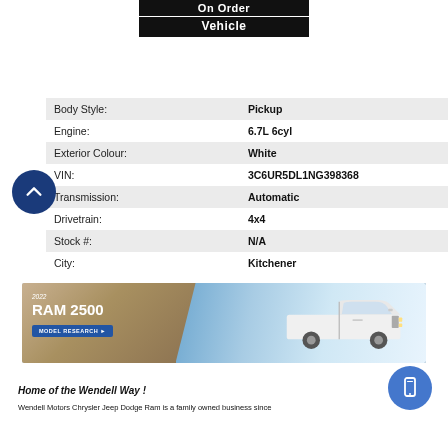[Figure (other): On Order Vehicle header banner with black background and white text]
| Field | Value |
| --- | --- |
| Body Style: | Pickup |
| Engine: | 6.7L 6cyl |
| Exterior Colour: | White |
| VIN: | 3C6UR5DL1NG398368 |
| Transmission: | Automatic |
| Drivetrain: | 4x4 |
| Stock #: | N/A |
| City: | Kitchener |
[Figure (photo): 2022 RAM 2500 promotional banner with truck image and Model Research button]
Home of the Wendell Way !
Wendell Motors Chrysler Jeep Dodge Ram is a family owned business since